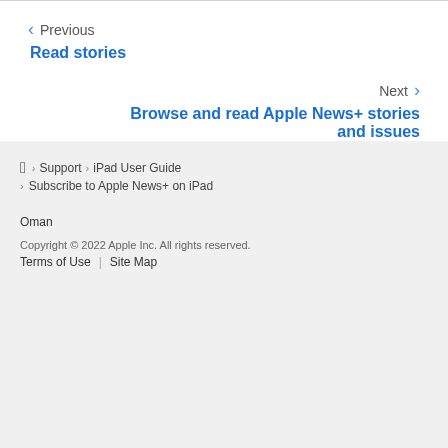< Previous
Read stories
Next >
Browse and read Apple News+ stories and issues
Apple logo > Support > iPad User Guide > Subscribe to Apple News+ on iPad
Oman
Copyright © 2022 Apple Inc. All rights reserved.
Terms of Use | Site Map